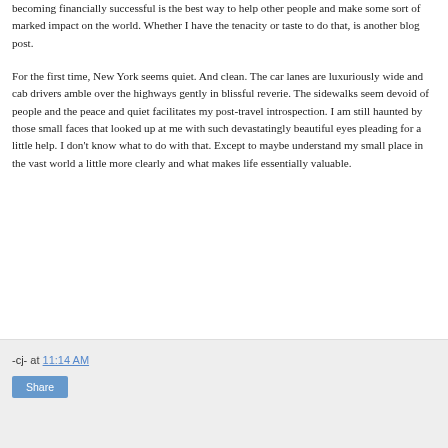becoming financially successful is the best way to help other people and make some sort of marked impact on the world. Whether I have the tenacity or taste to do that, is another blog post.
For the first time, New York seems quiet. And clean. The car lanes are luxuriously wide and cab drivers amble over the highways gently in blissful reverie. The sidewalks seem devoid of people and the peace and quiet facilitates my post-travel introspection. I am still haunted by those small faces that looked up at me with such devastatingly beautiful eyes pleading for a little help. I don't know what to do with that. Except to maybe understand my small place in the vast world a little more clearly and what makes life essentially valuable.
-cj- at 11:14 AM  Share